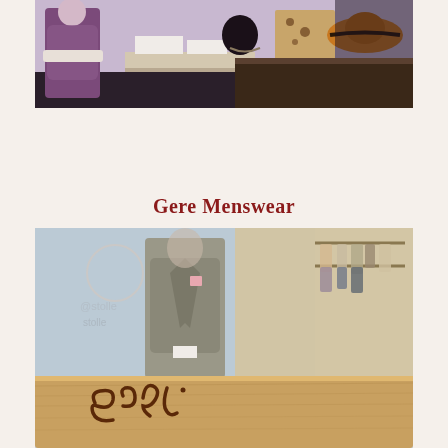[Figure (photo): Interior of a women's clothing/accessories boutique showing mannequins dressed in purple fur coat and other garments, accessories including hats, bags, and jewelry displayed on dark wooden furniture]
Gere Menswear
[Figure (photo): Exterior and interior view of Gere Menswear shop showing a window display with a mannequin in a grey herringbone blazer, clothing racks visible inside, and the store's wooden sign with cursive 'gere' branding in the foreground]